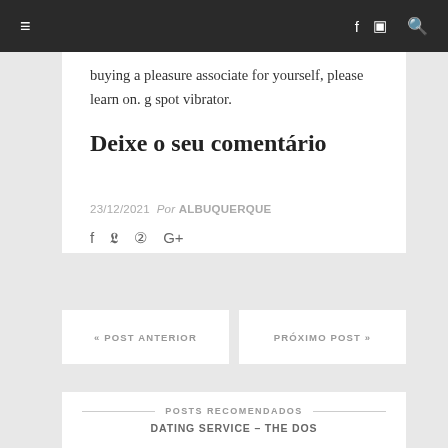≡    f  Instagram  Q
buying a pleasure associate for yourself, please learn on. g spot vibrator.
Deixe o seu comentário
23/12/2021  Por ALBUQUERQUE
f  Twitter  Pinterest  G+
« POST ANTERIOR
PRÓXIMO POST »
POSTS RECOMENDADOS
DATING SERVICE – THE DOS